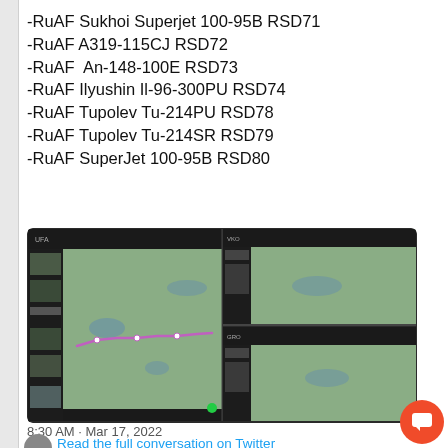-RuAF Sukhoi Superjet 100-95B RSD71
-RuAF A319-115CJ RSD72
-RuAF  An-148-100E RSD73
-RuAF Ilyushin Il-96-300PU RSD74
-RuAF Tupolev Tu-214PU RSD78
-RuAF Tupolev Tu-214SR RSD79
-RuAF SuperJet 100-95B RSD80
[Figure (screenshot): Screenshot of flight tracking application showing map with aircraft route and multiple panel views]
8:30 AM · Mar 17, 2022
Read the full conversation on Twitter